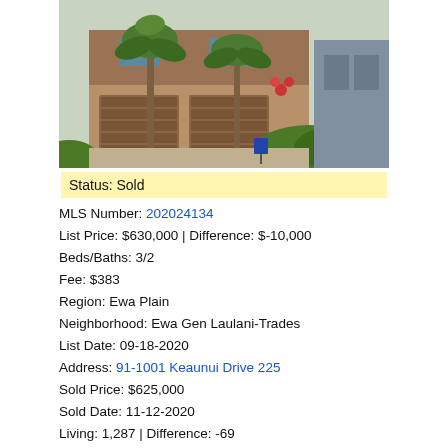[Figure (photo): Exterior photo of a two-story townhouse with brown wood siding, double garage doors, palm trees in front, green shrubs, and tropical foliage.]
Status: Sold
MLS Number: 202024134
List Price: $630,000 | Difference: $-10,000
Beds/Baths: 3/2
Fee: $383
Region: Ewa Plain
Neighborhood: Ewa Gen Laulani-Trades
List Date: 09-18-2020
Address: 91-1001 Keaunui Drive 225
Sold Price: $625,000
Sold Date: 11-12-2020
Living: 1,287 | Difference: -69
Land: 2,815 | Difference: -1,373